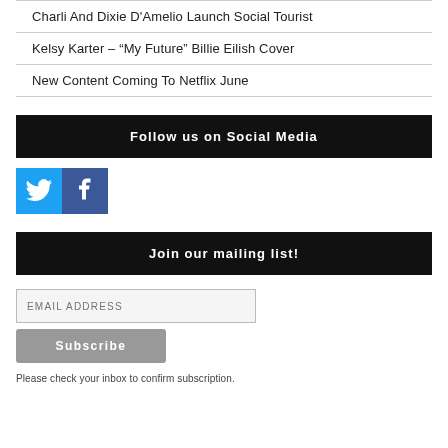Charli And Dixie D'Amelio Launch Social Tourist
Kelsy Karter – “My Future” Billie Eilish Cover
New Content Coming To Netflix June
Follow us on Social Media
[Figure (infographic): Twitter and Facebook social media icons side by side]
Join our mailing list!
EMAIL ADDRESS
Subscribe
Please check your inbox to confirm subscription.